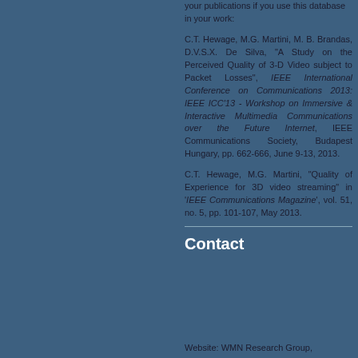your publications if you use this database in your work:
C.T. Hewage, M.G. Martini, M. B. Brandas, D.V.S.X. De Silva, "A Study on the Perceived Quality of 3-D Video subject to Packet Losses", IEEE International Conference on Communications 2013: IEEE ICC'13 - Workshop on Immersive & Interactive Multimedia Communications over the Future Internet, IEEE Communications Society, Budapest Hungary, pp. 662-666, June 9-13, 2013.
C.T. Hewage, M.G. Martini, "Quality of Experience for 3D video streaming" in 'IEEE Communications Magazine', vol. 51, no. 5, pp. 101-107, May 2013.
Contact
Website: WMN Research Group,